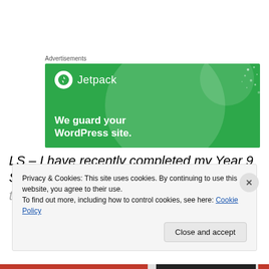Advertisements
[Figure (illustration): Jetpack advertisement banner on green background with text 'We guard your WordPress site.']
LS – I have recently completed my Year 9 SATs, and I feel
Privacy & Cookies: This site uses cookies. By continuing to use this website, you agree to their use. To find out more, including how to control cookies, see here: Cookie Policy
Close and accept